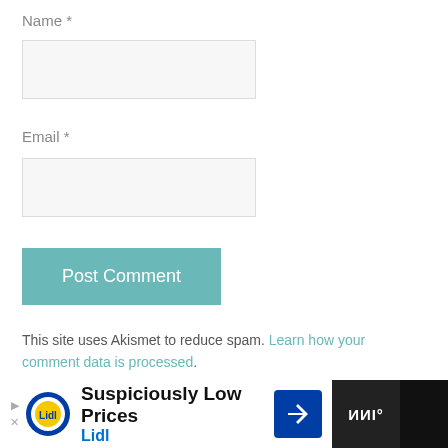Name *
[Figure (other): Text input field for Name]
Email *
[Figure (other): Text input field for Email]
[Figure (other): Post Comment button, teal background]
This site uses Akismet to reduce spam. Learn how your comment data is processed.
COMMENTS
[Figure (other): Lidl advertisement banner: Suspiciously Low Prices]